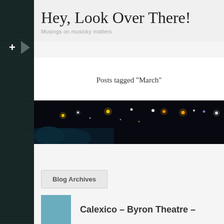Hey, Look Over There!
Musings on musicky matters
Posts tagged "March"
[Figure (photo): Dark concert venue photo showing stage lights (yellow, white, orange) against a nearly black background]
Blog Archives
Calexico – Byron Theatre –